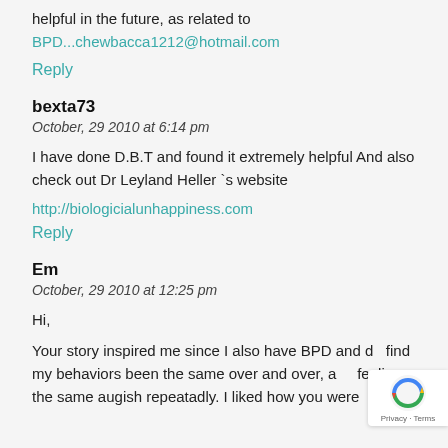helpful in the future, as related to BPD...chewbacca1212@hotmail.com
Reply
bexta73
October, 29 2010 at 6:14 pm
I have done D.B.T and found it extremely helpful And also check out Dr Leyland Heller `s website
http://biologicialunhappiness.com
Reply
Em
October, 29 2010 at 12:25 pm
Hi,
Your story inspired me since I also have BPD and do find my behaviors been the same over and over, and feeling the same augish repeatadly. I liked how you were